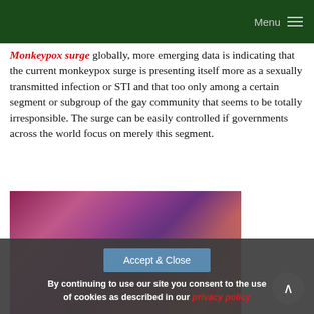Menu
Monkeypox surge globally, more emerging data is indicating that the current monkeypox surge is presenting itself more as a sexually transmitted infection or STI and that too only among a certain segment or subgroup of the gay community that seems to be totally irresponsible. The surge can be easily controlled if governments across the world focus on merely this segment.
[Figure (photo): A large crowd of people at what appears to be a nightclub or outdoor party, lit with pink and purple lights.]
Accept & Close
By continuing to use our site you consent to the use of cookies as described in our privacy policy